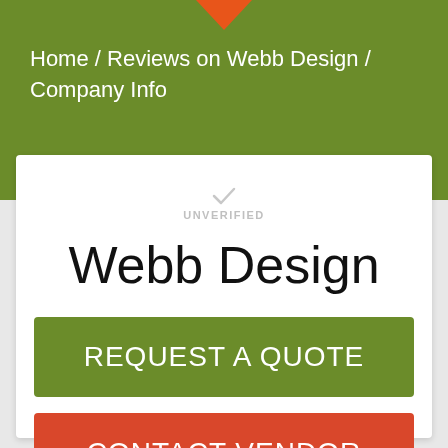Home / Reviews on Webb Design / Company Info
UNVERIFIED
Webb Design
REQUEST A QUOTE
CONTACT VENDOR